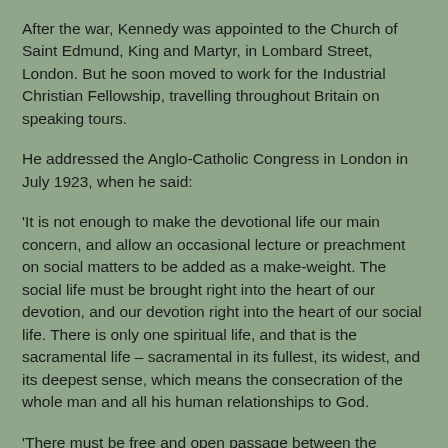After the war, Kennedy was appointed to the Church of Saint Edmund, King and Martyr, in Lombard Street, London. But he soon moved to work for the Industrial Christian Fellowship, travelling throughout Britain on speaking tours.
He addressed the Anglo-Catholic Congress in London in July 1923, when he said:
'It is not enough to make the devotional life our main concern, and allow an occasional lecture or preachment on social matters to be added as a make-weight. The social life must be brought right into the heart of our devotion, and our devotion right into the heart of our social life. There is only one spiritual life, and that is the sacramental life – sacramental in its fullest, its widest, and its deepest sense, which means the consecration of the whole man and all his human relationships to God.
'There must be free and open passage between the sanctuary and the street. We must destroy within ourselves our present feeling that we descend to a lower level when we leave the song of the angels and the archangels and begin